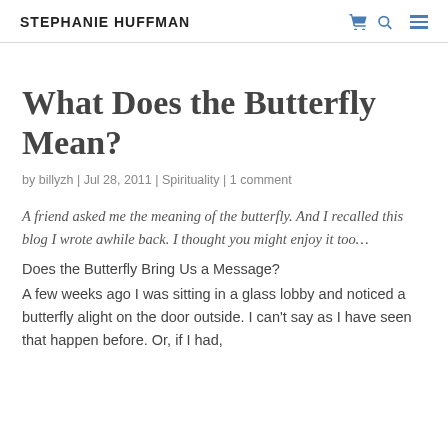STEPHANIE HUFFMAN
What Does the Butterfly Mean?
by billyzh | Jul 28, 2011 | Spirituality | 1 comment
A friend asked me the meaning of the butterfly. And I recalled this blog I wrote awhile back. I thought you might enjoy it too…
Does the Butterfly Bring Us a Message?
A few weeks ago I was sitting in a glass lobby and noticed a butterfly alight on the door outside. I can't say as I have seen that happen before. Or, if I had,